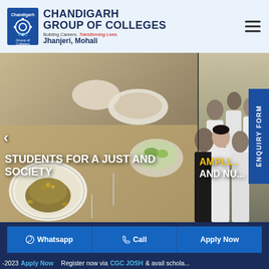[Figure (logo): Chandigarh Group of Colleges CGC logo with gear/wheel icon]
CHANDIGARH GROUP OF COLLEGES
Building Careers. Transforming Lives.
Jhanjeri, Mohali
[Figure (screenshot): Website screenshot showing food/cuisine photo on left side of hero banner with text 'STUDENTS FOR A JUST AND SOCIETY' and students group photo on right with text 'AMPLIF... AND NU...' with ENQUIRY FORM tab on the right edge]
STUDENTS FOR A JUST AND SOCIETY
AMPLIF... AND NU...
ENQUIRY FORM
Whatsapp
Call
Apply Now
-2023 Apply Now   Register now via CGC JOSH & avail schola...